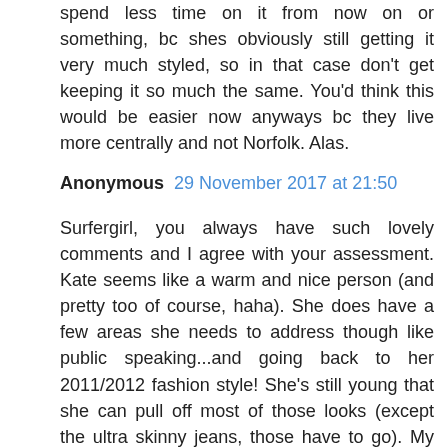spend less time on it from now on or something, bc shes obviously still getting it very much styled, so in that case don't get keeping it so much the same. You'd think this would be easier now anyways bc they live more centrally and not Norfolk. Alas.
Anonymous 29 November 2017 at 21:50
Surfergirl, you always have such lovely comments and I agree with your assessment. Kate seems like a warm and nice person (and pretty too of course, haha). She does have a few areas she needs to address though like public speaking...and going back to her 2011/2012 fashion style! She's still young that she can pull off most of those looks (except the ultra skinny jeans, those have to go). My feeling is that she relied a lot more on her own intuition and her mom's during those early years and now she seems to be leaning on Natasha Archer (or whoever) for fashion tips. My advice to her - trust